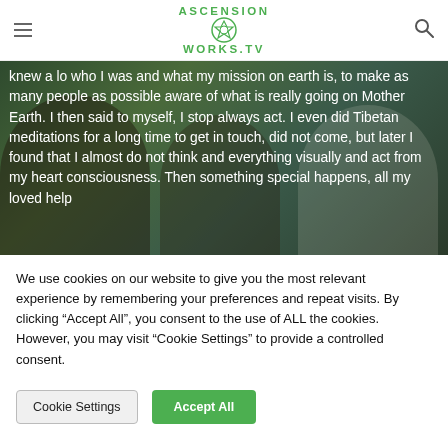AscensionWorks.TV navigation header with hamburger menu and search icon
[Figure (screenshot): Video screenshot showing three people sitting outdoors with overlaid transcript text: 'knew a lo who I was and what my mission on earth is, to make as many people as possible aware of what is really going on Mother Earth. I then said to myself, I stop always act. I even did Tibetan meditations for a long time to get in touch, did not come, but later I found that I almost do not think and everything visually and act from my heart consciousness. Then something special happens, all my loved help']
We use cookies on our website to give you the most relevant experience by remembering your preferences and repeat visits. By clicking “Accept All”, you consent to the use of ALL the cookies. However, you may visit "Cookie Settings" to provide a controlled consent.
Cookie Settings   Accept All